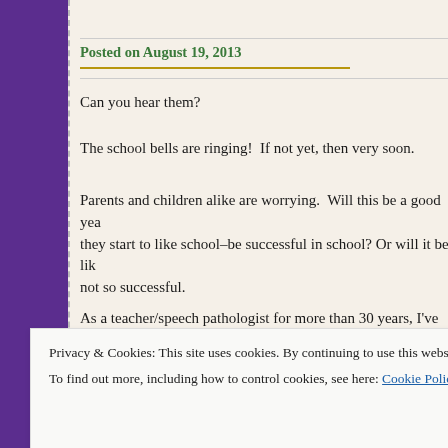Posted on August 19, 2013
Can you hear them?
The school bells are ringing!  If not yet, then very soon.
Parents and children alike are worrying.  Will this be a good year–will they start to like school–be successful in school? Or will it be like…not so successful.
As a teacher/speech pathologist for more than 30 years, I've seen…are good and some are not so good, but one thing has remained constant–parents want their child to be happy and successful in school. H…
Privacy & Cookies: This site uses cookies. By continuing to use this website, you agree to their use.
To find out more, including how to control cookies, see here: Cookie Policy
Close and accept